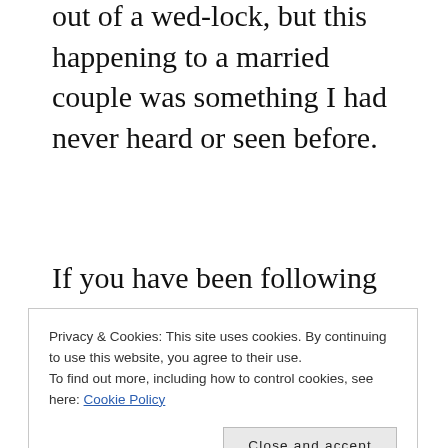out of a wed-lock, but this happening to a married couple was something I had never heard or seen before.
If you have been following my blog, you’d be well aware of what followed and I am not going to repeat any of it here.
But, the hurt and raw pain I had felt then is still so fresh in some dungeon of my heart
Privacy & Cookies: This site uses cookies. By continuing to use this website, you agree to their use.
To find out more, including how to control cookies, see here: Cookie Policy
us being single moms, the answer follows.